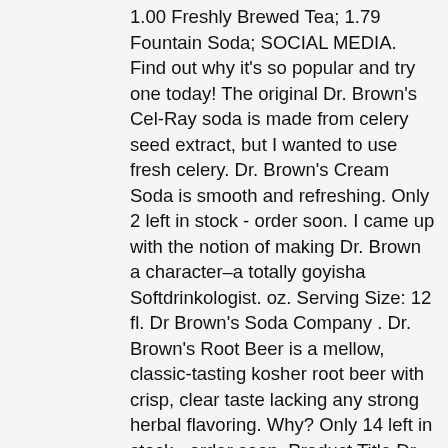1.00 Freshly Brewed Tea; 1.79 Fountain Soda; SOCIAL MEDIA. Find out why it's so popular and try one today! The original Dr. Brown's Cel-Ray soda is made from celery seed extract, but I wanted to use fresh celery. Dr. Brown's Cream Soda is smooth and refreshing. Only 2 left in stock - order soon. I came up with the notion of making Dr. Brown a character–a totally goyisha Softdrinkologist. oz. Serving Size: 12 fl. Dr Brown's Soda Company . Dr. Brown's Root Beer is a mellow, classic-tasting kosher root beer with crisp, clear taste lacking any strong herbal flavoring. Why? Only 14 left in stock - order soon. Product Title Dr Browns Original Cream Soda, 67.6 FO (Pack of 6) Average Rating: (0.0) out of 5 stars. Now, I am remiss to say that my review will be based on cans of Dr. Brown's cream soda since so far we've only been trying cream soda in glass bottles. View. Dr Browns is a brand of soft drink made by J & R Bottling. A. Web Result Dr. Browns HOME ABOUT US BOTTLING 101 CLIENTS _____ 2009 J and R Bottling, Inc _____ website design: Creative Colleagues Dr. Brown's Flavor Favorites Since 1869 12 oz Glass Bottles: